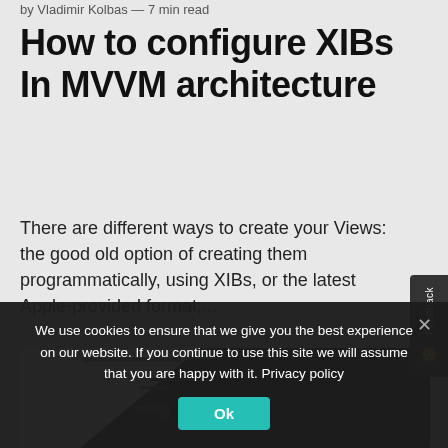by Vladimir Kolbas — 7 min read
How to configure XIBs In MVVM architecture
There are different ways to create your Views: the good old option of creating them programmatically, using XIBs, or the latest Apple-provided format,...
[Figure (photo): Partial view of an iPhone showing a dark-themed app screen]
We use cookies to ensure that we give you the best experience on our website. If you continue to use this site we will assume that you are happy with it. Privacy policy
Ok